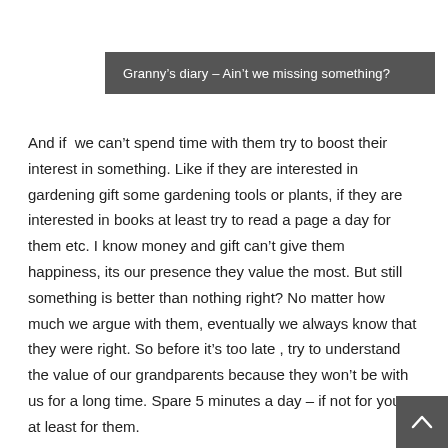Granny’s diary – Ain’t we missing something?
And if  we can’t spend time with them try to boost their interest in something. Like if they are interested in gardening gift some gardening tools or plants, if they are interested in books at least try to read a page a day for them etc. I know money and gift can’t give them happiness, its our presence they value the most. But still something is better than nothing right? No matter how much we argue with them, eventually we always know that they were right. So before it’s too late , try to understand the value of our grandparents because they won’t be with us for a long time. Spare 5 minutes a day – if not for you, at least for them.